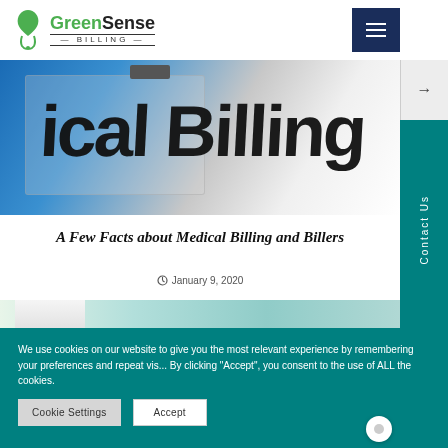[Figure (logo): GreenSense Billing logo with green leaf/stethoscope icon]
[Figure (photo): Medical billing clipboard photo with 'Medical Billing' text visible]
A Few Facts about Medical Billing and Billers
January 9, 2020
[Figure (photo): Doctor in white coat with red stethoscope]
We use cookies on our website to give you the most relevant experience by remembering your preferences and repeat visits. By clicking “Accept”, you consent to the use of ALL the cookies.
Cookie Settings
Accept